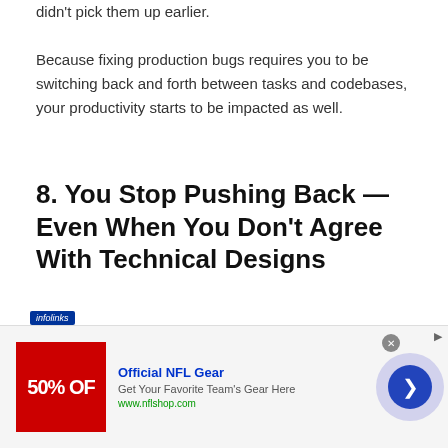didn't pick them up earlier. Because fixing production bugs requires you to be switching back and forth between tasks and codebases, your productivity starts to be impacted as well.
8. You Stop Pushing Back — Even When You Don't Agree With Technical Designs
You used to be very passionate about elegant
[Figure (infographic): Advertisement banner: Official NFL Gear, 50% OFF, Get Your Favorite Team's Gear Here, www.nflshop.com, with infolinks label, close button, and navigation arrow button]